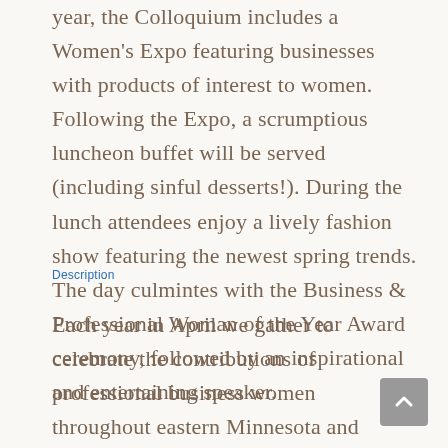year, the Colloquium includes a Women's Expo featuring businesses with products of interest to women. Following the Expo, a scrumptious luncheon buffet will be served (including sinful desserts!). During the lunch attendees enjoy a lively fashion show featuring the newest spring trends. The day culmintes with the Business & Professional Woman of the Year Award ceremony, followed by an inspirational and entertaining speaker.
Description
Each year in April we gather to celebrate the contributions of professional business women throughout eastern Minnesota and western